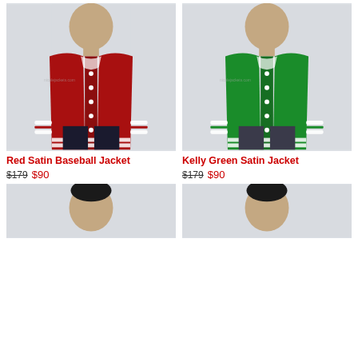[Figure (photo): Man wearing a red satin baseball jacket with white stripe trim on collar and cuffs, light gray background]
[Figure (photo): Man wearing a kelly green satin baseball jacket with white stripe trim on collar and cuffs, light gray background]
Red Satin Baseball Jacket
$179  $90
Kelly Green Satin Jacket
$179  $90
[Figure (photo): Partial view of man wearing a satin baseball jacket, cropped at top of page, light gray background]
[Figure (photo): Partial view of man wearing a satin baseball jacket, cropped at top of page, light gray background]